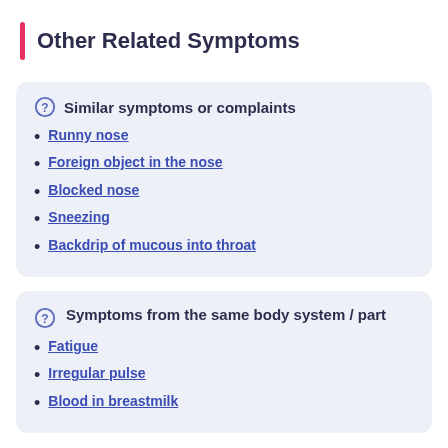Other Related Symptoms
Similar symptoms or complaints
Runny nose
Foreign object in the nose
Blocked nose
Sneezing
Backdrip of mucous into throat
Symptoms from the same body system / part
Fatigue
Irregular pulse
Blood in breastmilk